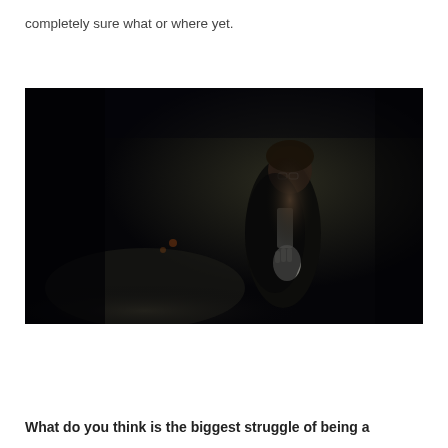completely sure what or where yet.
[Figure (photo): A dark, moody photograph of a person standing in a dimly lit outdoor setting, possibly a forest or dark path. The person is wearing glasses, a dark jacket, and a white knit fingerless glove, holding something. The background is very dark with faint green foliage visible.]
What do you think is the biggest struggle of being a